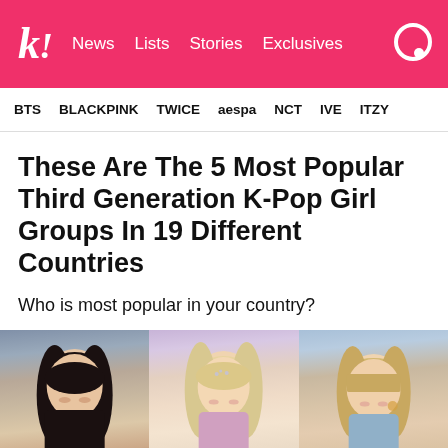k! News Lists Stories Exclusives
BTS BLACKPINK TWICE aespa NCT IVE ITZY
These Are The 5 Most Popular Third Generation K-Pop Girl Groups In 19 Different Countries
Who is most popular in your country?
[Figure (photo): Three K-Pop girl group members side by side: left person with long dark hair, center person with light blonde hair and hair accessories, right person with light blonde hair with bangs]